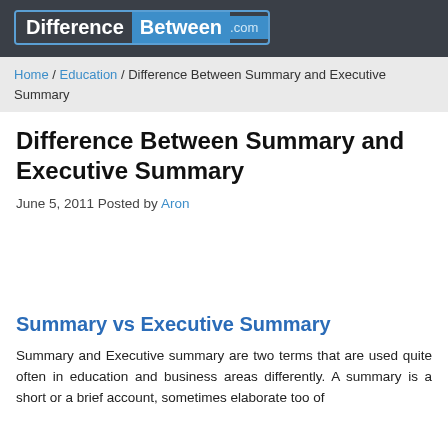DifferenceBetween.com
Home / Education / Difference Between Summary and Executive Summary
Difference Between Summary and Executive Summary
June 5, 2011 Posted by Aron
Summary vs Executive Summary
Summary and Executive summary are two terms that are used quite often in education and business areas differently. A summary is a short or a brief account, sometimes elaborate too of the substance of a longer document or presentation or a speech, etc.